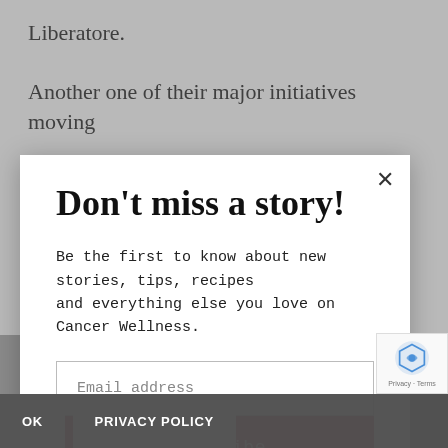Liberatore.
Another one of their major initiatives moving
[Figure (screenshot): Modal popup with title 'Don't miss a story!', body text about Cancer Wellness newsletter, email input field, and Subscribe button with red background and close X button]
But organizations like FSC continue to do the work of connecting... are likely brush off concerns about their health rather than
[Figure (screenshot): Cookie consent bar with OK and PRIVACY POLICY buttons]